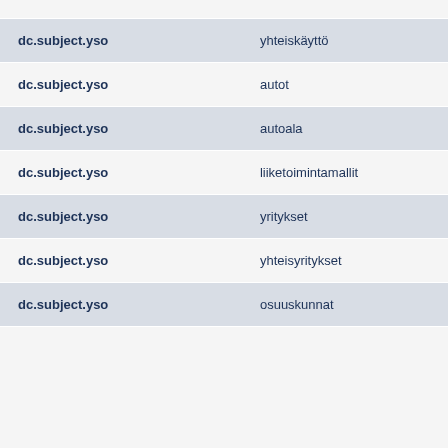| dc.subject.yso | yhteiskäyttö |  |
| dc.subject.yso | autot |  |
| dc.subject.yso | autoala |  |
| dc.subject.yso | liiketoimintamallit |  |
| dc.subject.yso | yritykset |  |
| dc.subject.yso | yhteisyritykset |  |
| dc.subject.yso | osuuskunnat |  |